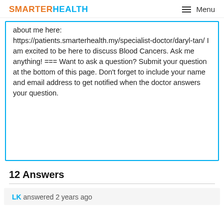SMARTERHEALTH  Menu
about me here: https://patients.smarterhealth.my/specialist-doctor/daryl-tan/ I am excited to be here to discuss Blood Cancers. Ask me anything! === Want to ask a question? Submit your question at the bottom of this page. Don’t forget to include your name and email address to get notified when the doctor answers your question.
12 Answers
LK answered 2 years ago